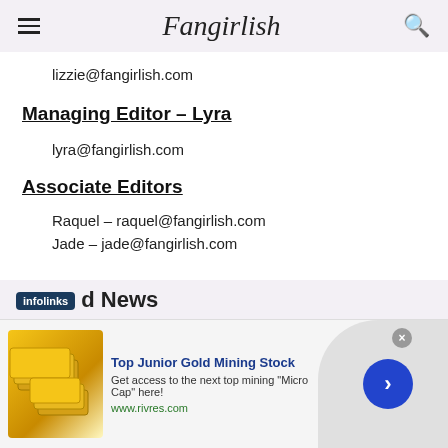Fangirlish
lizzie@fangirlish.com
Managing Editor – Lyra
lyra@fangirlish.com
Associate Editors
Raquel – raquel@fangirlish.com
Jade – jade@fangirlish.com
d News
[Figure (other): Advertisement banner: Top Junior Gold Mining Stock. Get access to the next top mining 'Micro Cap' here! www.rivres.com]